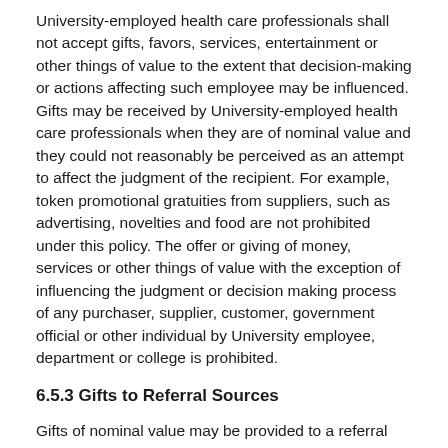University-employed health care professionals shall not accept gifts, favors, services, entertainment or other things of value to the extent that decision-making or actions affecting such employee may be influenced. Gifts may be received by University-employed health care professionals when they are of nominal value and they could not reasonably be perceived as an attempt to affect the judgment of the recipient. For example, token promotional gratuities from suppliers, such as advertising, novelties and food are not prohibited under this policy. The offer or giving of money, services or other things of value with the exception of influencing the judgment or decision making process of any purchaser, supplier, customer, government official or other individual by University employee, department or college is prohibited.
6.5.3 Gifts to Referral Sources
Gifts of nominal value may be provided to a referral source if made without intent to induce a referral. If a